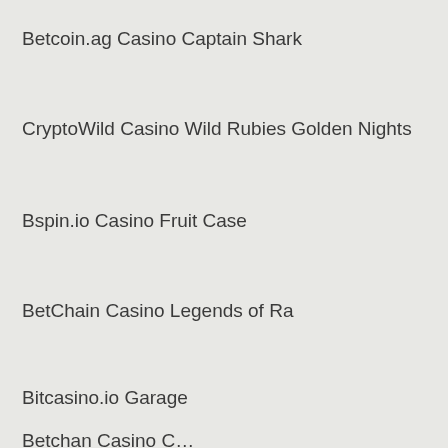Betcoin.ag Casino Captain Shark
CryptoWild Casino Wild Rubies Golden Nights
Bspin.io Casino Fruit Case
BetChain Casino Legends of Ra
Bitcasino.io Garage
Betchan Casino Сasanova F…